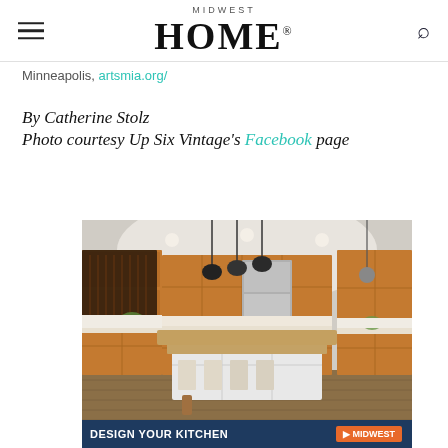MIDWEST HOME
Minneapolis, artsmia.org/
By Catherine Stolz
Photo courtesy Up Six Vintage's Facebook page
[Figure (photo): Interior photo of a large kitchen with warm wooden cabinetry, a large island with bar seating, pendant lights, hardwood floors, and white lower island cabinetry. Banner at bottom reads DESIGN YOUR KITCHEN.]